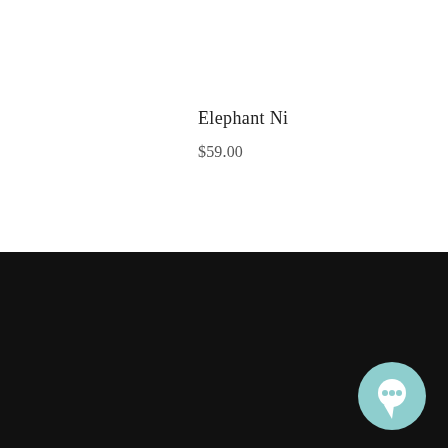Elephant Ni
$59.00
Next: Hair, Bath & Body Wash 250ml - Kakadu Plum & Marshmallow
[Figure (illustration): White right-pointing arrow on black background]
[Figure (illustration): Teal/mint circular chat bubble icon with white speech bubble symbol]